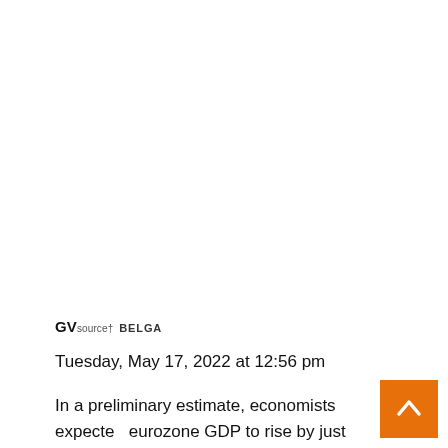GVsource† BELGA
Tuesday, May 17, 2022 at 12:56 pm
In a preliminary estimate, economists expected eurozone GDP to rise by just 0.2%. Compared to